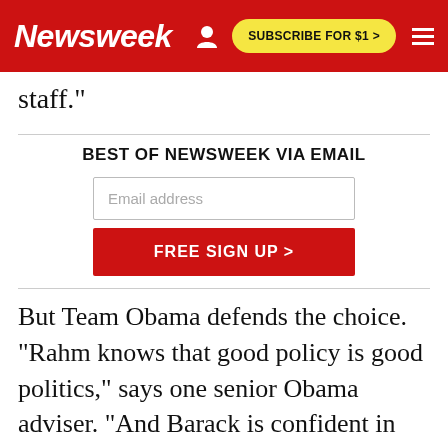Newsweek | SUBSCRIBE FOR $1 >
staff."
BEST OF NEWSWEEK VIA EMAIL
Email address
FREE SIGN UP >
But Team Obama defends the choice. "Rahm knows that good policy is good politics," says one senior Obama adviser. "And Barack is confident in his own judgment, that he can tell the diff...